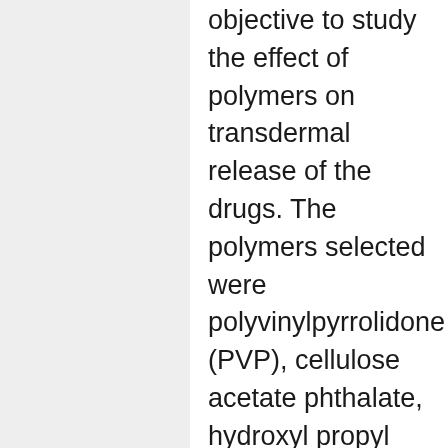objective to study the effect of polymers on transdermal release of the drugs. The polymers selected were polyvinylpyrrolidone (PVP), cellulose acetate phthalate, hydroxyl propyl methylcellulose phthalate and EC. Propylene glycol (40%w/w of dry weight of polymers, used as a plasticizer) and 1,8-cineole (penetration enhancer). Backing membrane was prepared by wrapping aluminum foil over the Teflon mold. The physical appearance of the patches and the effect on ageing indicated that the patches need to be stored in properly